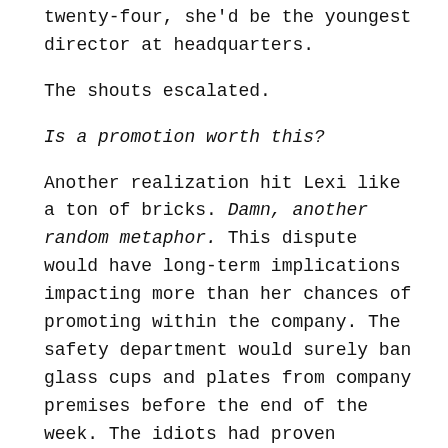twenty-four, she'd be the youngest director at headquarters.
The shouts escalated.
Is a promotion worth this?
Another realization hit Lexi like a ton of bricks. Damn, another random metaphor. This dispute would have long-term implications impacting more than her chances of promoting within the company. The safety department would surely ban glass cups and plates from company premises before the end of the week. The idiots had proven breakables were a liability Gulf America would no longer risk.